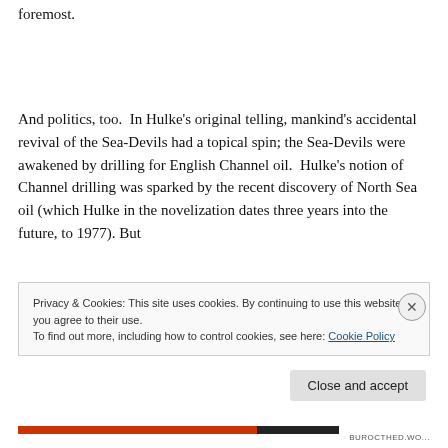foremost.
And politics, too.  In Hulke's original telling, mankind's accidental revival of the Sea-Devils had a topical spin; the Sea-Devils were awakened by drilling for English Channel oil.  Hulke's notion of Channel drilling was sparked by the recent discovery of North Sea oil (which Hulke in the novelization dates three years into the future, to 1977). But
Privacy & Cookies: This site uses cookies. By continuing to use this website, you agree to their use.
To find out more, including how to control cookies, see here: Cookie Policy
Close and accept